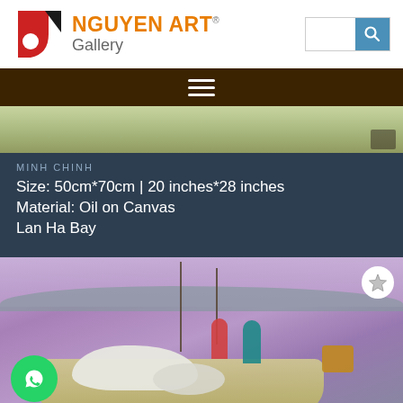NGUYEN ART Gallery
[Figure (logo): Nguyen Art Gallery logo with red and black geometric icon, orange NGUYEN ART text and gray Gallery subtitle, search box with blue search button]
[Figure (photo): Navigation bar with dark brown background and hamburger menu icon in white]
[Figure (photo): Top portion of a landscape painting showing greenish tones, appears to be a bay scene]
MINH CHINH
Size: 50cm*70cm | 20 inches*28 inches
Material: Oil on Canvas
Lan Ha Bay
[Figure (photo): Painting of fishermen on boats in Lan Ha Bay with purple/lavender water tones, boats with white covers, figures of people working, hills in background. White star/favorite icon in top right. WhatsApp chat button (green circle with phone icon) in bottom left.]